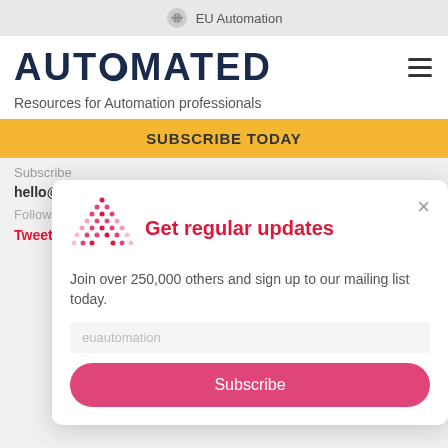EU Automation
AUTOMATED
Resources for Automation professionals
SUBSCRIBE TODAY
Subscribe
hello@automatedmagazine.com
Follow us
Tweets
[Figure (screenshot): Modal popup with EU Automation logo (pink dot triangle pattern), title 'Get regular updates', close X button, body text 'Join over 250,000 others and sign up to our mailing list today.', an email input field showing 'euautomation', and a pink Subscribe button.]
About us